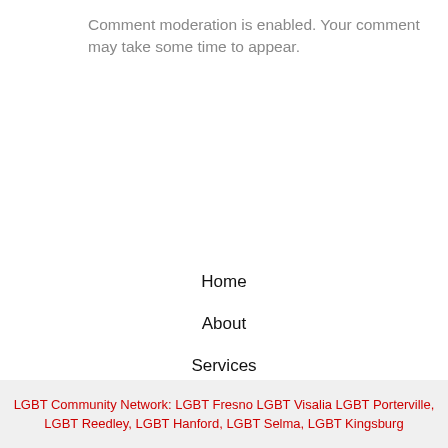Comment moderation is enabled. Your comment may take some time to appear.
Home
About
Services
Contact
[Figure (infographic): Facebook icon and a group/people icon (social media icons)]
LGBT Community Network: LGBT Fresno LGBT Visalia LGBT Porterville, LGBT Reedley, LGBT Hanford, LGBT Selma, LGBT Kingsburg